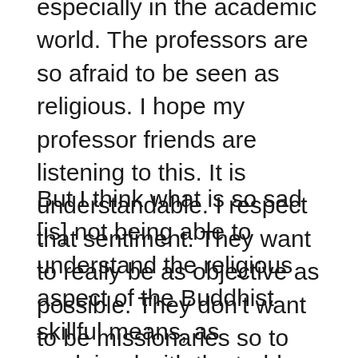especially in the academic world. The professors are so afraid to be seen as religious. I hope my professor friends are listening to this. It is understandable. I respect that sentiment. They want to really be as objective as possible. They don't want to be missionaries so to speak. But we have already dealt with the issue of objectivity earlier.
But I think what is so sad [is] not being able to understand the religious aspect of the Buddhist skillful means, as explained with the teddy bear issue. It's a bit like this. Throughout history, I think there have been a lot of people, a lot of thinkers who have actually come very bravely [and] negated lots of things. They have negated [things] like superstitious beliefs etc. They negate this, they negate that, and then they